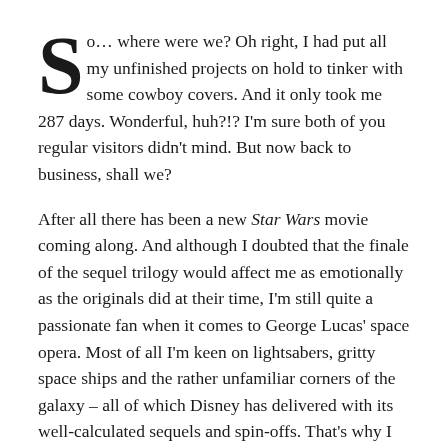So... where were we? Oh right, I had put all my unfinished projects on hold to tinker with some cowboy covers. And it only took me 287 days. Wonderful, huh?!? I'm sure both of you regular visitors didn't mind. But now back to business, shall we?
After all there has been a new Star Wars movie coming along. And although I doubted that the finale of the sequel trilogy would affect me as emotionally as the originals did at their time, I'm still quite a passionate fan when it comes to George Lucas' space opera. Most of all I'm keen on lightsabers, gritty space ships and the rather unfamiliar corners of the galaxy – all of which Disney has delivered with its well-calculated sequels and spin-offs. That's why I couldn't wait to dive deep one final time(?) and then let it rest for good (or not... who knows?).